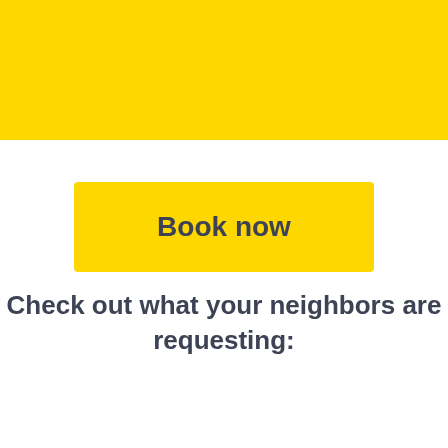[Figure (other): Yellow horizontal banner bar at the top of the page]
Book now
Check out what your neighbors are requesting: